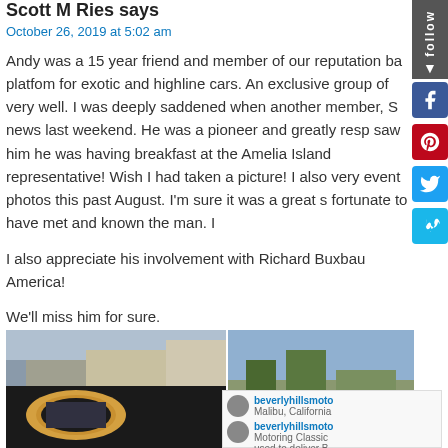Scott M Ries says
October 26, 2019 at 5:02 am
Andy was a 15 year friend and member of our reputation ba platfom for exotic and highline cars. An exclusive group of very well. I was deeply saddened when another member, S news last weekend. He was a pioneer and greatly resp saw him he was having breakfast at the Amelia Island representative! Wish I had taken a picture! I also very event photos this past August. I'm sure it was a great s fortunate to have met and known the man. I
I also appreciate his involvement with Richard Buxbau America!
We'll miss him for sure.
[Figure (photo): Collage of car event photos including a car interior mirror reflection and outdoor event scenes]
beverlyhillsmoto
Malibu, California
beverlyhillsmoto
Motoring Classic
used to deliver B
since 1976.